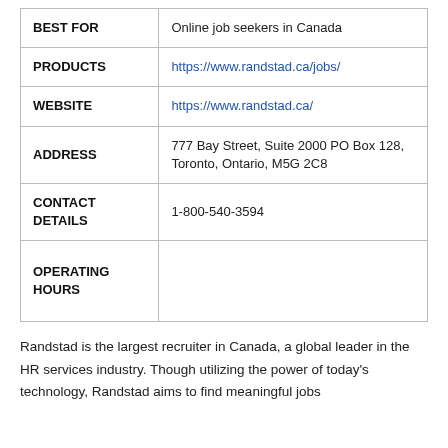| BEST FOR | Online job seekers in Canada |
| PRODUCTS | https://www.randstad.ca/jobs/ |
| WEBSITE | https://www.randstad.ca/ |
| ADDRESS | 777 Bay Street, Suite 2000 PO Box 128, Toronto, Ontario, M5G 2C8 |
| CONTACT DETAILS | 1-800-540-3594 |
| OPERATING HOURS |  |
Randstad is the largest recruiter in Canada, a global leader in the HR services industry. Though utilizing the power of today's technology, Randstad aims to find meaningful jobs